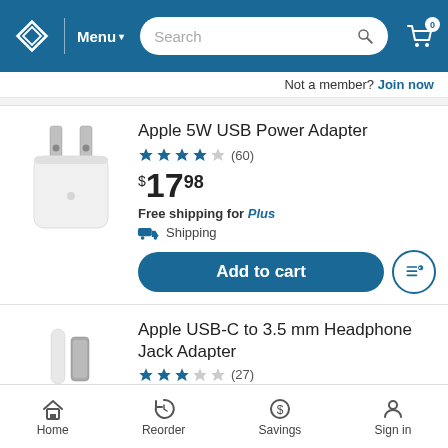Sam's Club header with logo, Menu, Search, and cart (0 items)
Not a member? Join now
[Figure (photo): Apple 5W USB Power Adapter product image — white cube-shaped charger with two metal prongs]
Apple 5W USB Power Adapter
★★★★☆ (60)
$17.98
Free shipping for Plus
Shipping
Add to cart
[Figure (photo): Apple USB-C to 3.5 mm Headphone Jack Adapter product image — white cable with USB-C connector]
Apple USB-C to 3.5 mm Headphone Jack Adapter
★★★☆☆ (27)
Home  Reorder  Savings  Sign in